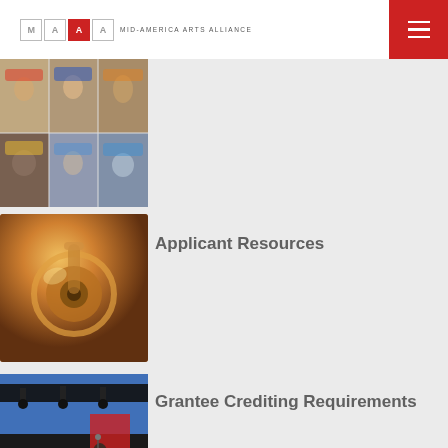MID-AMERICA ARTS ALLIANCE
[Figure (photo): Collage of six performers in colorful traditional costumes and headdresses]
[Figure (photo): Close-up photo of brass musical instrument, likely a trumpet bell]
Applicant Resources
[Figure (photo): Photo of outdoor music performance on stage]
Grantee Crediting Requirements